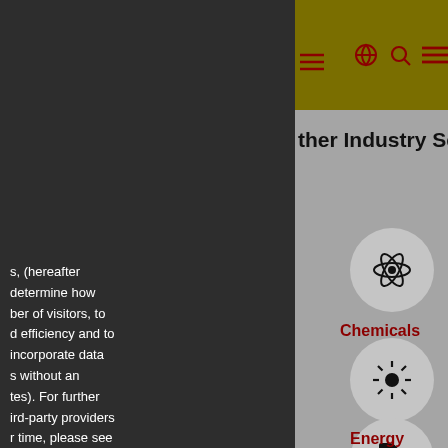other Industry Sectors
s, (hereafter determine how ber of visitors, to d efficiency and to incorporate data s without an tes). For further ird-party providers r time, please see r
[Figure (illustration): Atom/molecule icon in a gray circle - Chemicals category]
Chemicals
[Figure (illustration): Sun/energy icon in a gray circle - Energy category]
Energy
[Figure (illustration): Price tag icon in a gray circle - third category partial]